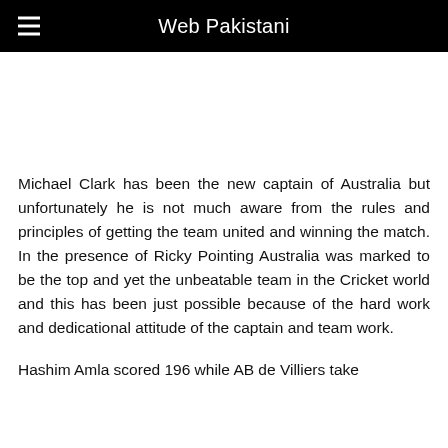Web Pakistani
Michael Clark has been the new captain of Australia but unfortunately he is not much aware from the rules and principles of getting the team united and winning the match. In the presence of Ricky Pointing Australia was marked to be the top and yet the unbeatable team in the Cricket world and this has been just possible because of the hard work and dedicational attitude of the captain and team work.
Hashim Amla scored 196 while AB de Villiers take